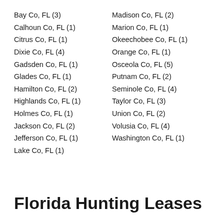Bay Co, FL (3)
Calhoun Co, FL (1)
Citrus Co, FL (1)
Dixie Co, FL (4)
Gadsden Co, FL (1)
Glades Co, FL (1)
Hamilton Co, FL (2)
Highlands Co, FL (1)
Holmes Co, FL (1)
Jackson Co, FL (2)
Jefferson Co, FL (1)
Lake Co, FL (1)
Madison Co, FL (2)
Marion Co, FL (1)
Okeechobee Co, FL (1)
Orange Co, FL (1)
Osceola Co, FL (5)
Putnam Co, FL (2)
Seminole Co, FL (4)
Taylor Co, FL (3)
Union Co, FL (2)
Volusia Co, FL (4)
Washington Co, FL (1)
Florida Hunting Leases